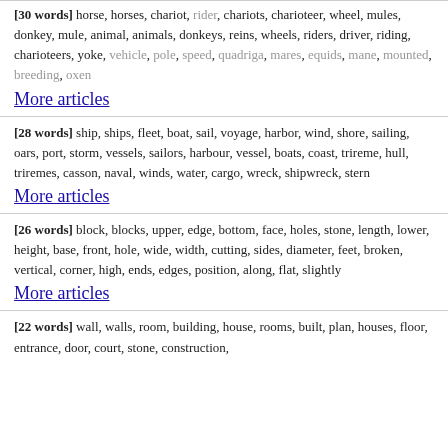[30 words] horse, horses, chariot, rider, chariots, charioteer, wheel, mules, donkey, mule, animal, animals, donkeys, reins, wheels, riders, driver, riding, charioteers, yoke, vehicle, pole, speed, quadriga, mares, equids, mane, mounted, breeding, oxen
More articles
[28 words] ship, ships, fleet, boat, sail, voyage, harbor, wind, shore, sailing, oars, port, storm, vessels, sailors, harbour, vessel, boats, coast, trireme, hull, triremes, casson, naval, winds, water, cargo, wreck, shipwreck, stern
More articles
[26 words] block, blocks, upper, edge, bottom, face, holes, stone, length, lower, height, base, front, hole, wide, width, cutting, sides, diameter, feet, broken, vertical, corner, high, ends, edges, position, along, flat, slightly
More articles
[22 words] wall, walls, room, building, house, rooms, built, plan, houses, floor, entrance, door, court, stone, construction,